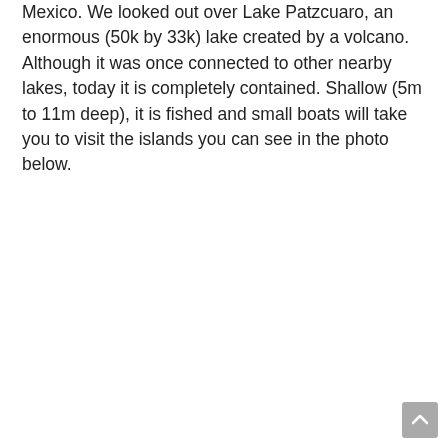Mexico. We looked out over Lake Patzcuaro, an enormous (50k by 33k) lake created by a volcano. Although it was once connected to other nearby lakes, today it is completely contained. Shallow (5m to 11m deep), it is fished and small boats will take you to visit the islands you can see in the photo below.